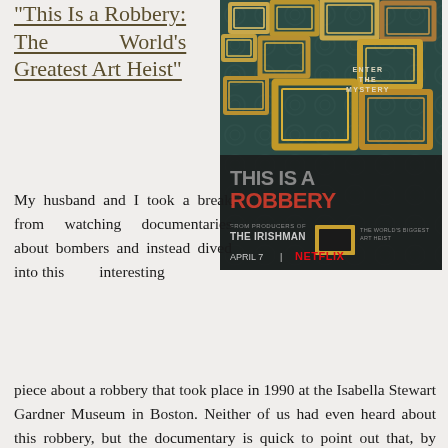"This Is a Robbery: The World's Greatest Art Heist"
[Figure (photo): Netflix documentary poster for 'This Is a Robbery: The World's Biggest Art Heist'. Dark teal damask background with multiple ornate gold picture frames arranged decoratively. Text reads 'ENTER THE MYSTERY', 'THIS IS A ROBBERY', 'FROM PRODUCERS OF THE IRISHMAN', 'THE WORLD'S BIGGEST ART HEIST', 'APRIL 7 | NETFLIX'.]
My husband and I took a break from watching documentaries about bombers and instead dived into this interesting piece about a robbery that took place in 1990 at the Isabella Stewart Gardner Museum in Boston. Neither of us had even heard about this robbery, but the documentary is quick to point out that, by price, it was the largest art theft to have ever taken place (a bigger one happened